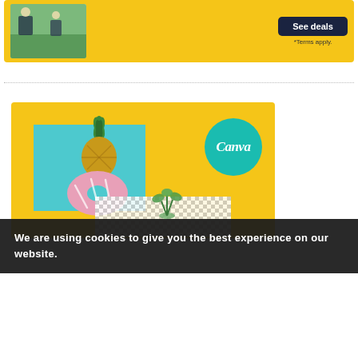[Figure (screenshot): Yellow advertisement banner with a travel photo on the left and a 'See deals' button on the right, with '*Terms apply.' text below the button.]
[Figure (screenshot): Canva promotional image: yellow background with a pineapple on a pink donut on a teal rectangle, a checkered transparent area bottom right, and the Canva logo in a teal circle.]
We are using cookies to give you the best experience on our website.